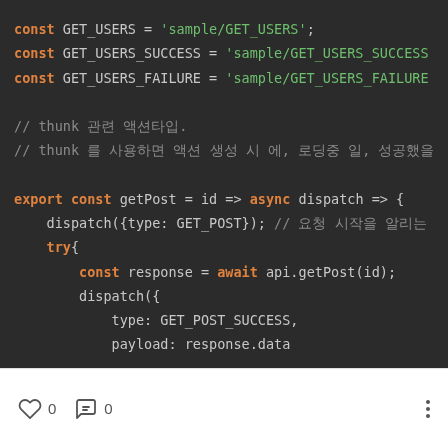[Figure (screenshot): Dark-themed code editor screenshot showing JavaScript/Redux action constants and an async thunk function. Code includes const declarations for GET_USERS, GET_USERS_SUCCESS, GET_USERS_FAILURE with string values, Korean comments about thunk, and an exported async getPost function with dispatch and try block containing await api.getPost(id), dispatch with type GET_POST_SUCCESS and payload response.data.]
0  0  ⋮